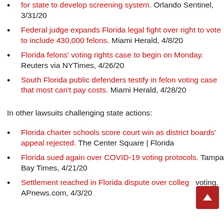for state to develop screening system. Orlando Sentinel, 3/31/20
Federal judge expands Florida legal fight over right to vote to include 430,000 felons. Miami Herald, 4/8/20
Florida felons' voting rights case to begin on Monday. Reuters via NYTimes, 4/26/20
South Florida public defenders testify in felon voting case that most can't pay costs. Miami Herald, 4/28/20
In other lawsuits challenging state actions:
Florida charter schools score court win as district boards' appeal rejected. The Center Square | Florida
Florida sued again over COVID-19 voting protocols. Tampa Bay Times, 4/21/20
Settlement reached in Florida dispute over college voting. APnews.com, 4/3/20